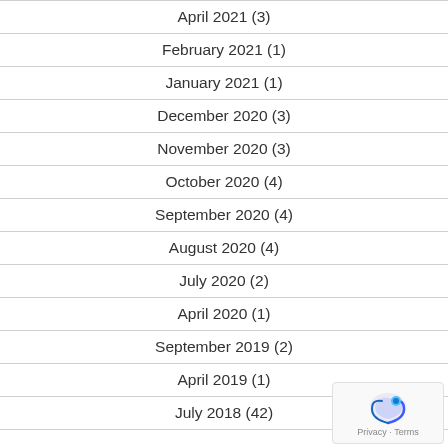April 2021 (3)
February 2021 (1)
January 2021 (1)
December 2020 (3)
November 2020 (3)
October 2020 (4)
September 2020 (4)
August 2020 (4)
July 2020 (2)
April 2020 (1)
September 2019 (2)
April 2019 (1)
July 2018 (42)